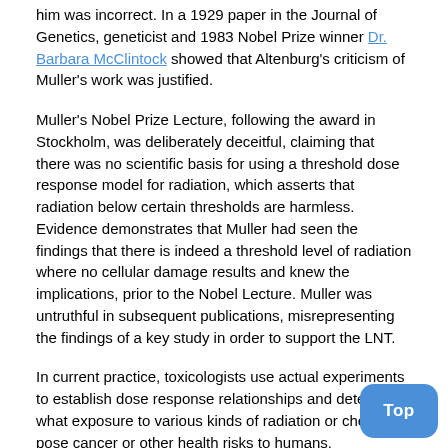him was incorrect. In a 1929 paper in the Journal of Genetics, geneticist and 1983 Nobel Prize winner Dr. Barbara McClintock showed that Altenburg's criticism of Muller's work was justified.
Muller's Nobel Prize Lecture, following the award in Stockholm, was deliberately deceitful, claiming that there was no scientific basis for using a threshold dose response model for radiation, which asserts that radiation below certain thresholds are harmless. Evidence demonstrates that Muller had seen the findings that there is indeed a threshold level of radiation where no cellular damage results and knew the implications, prior to the Nobel Lecture. Muller was untruthful in subsequent publications, misrepresenting the findings of a key study in order to support the LNT.
In current practice, toxicologists use actual experiments to establish dose response relationships and determine what exposure to various kinds of radiation or chemicals pose cancer or other health risks to humans. Recognition of this in medicine goes back to the 16th century when Paracelsus, a Swiss physician and chemist said, "all things are poisons and nothing without poison; only the dose makes the poison."